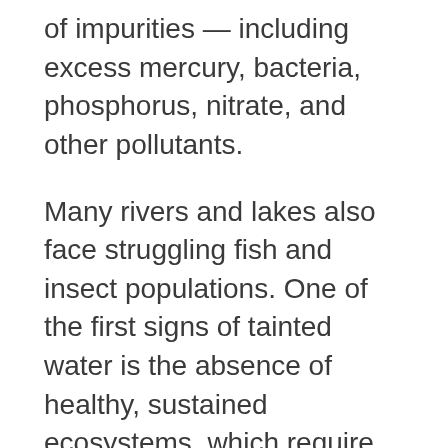of impurities — including excess mercury, bacteria, phosphorus, nitrate, and other pollutants.
Many rivers and lakes also face struggling fish and insect populations. One of the first signs of tainted water is the absence of healthy, sustained ecosystems, which require clean water to live.
Effects on Human Health
Mercury is currently Minnesota's